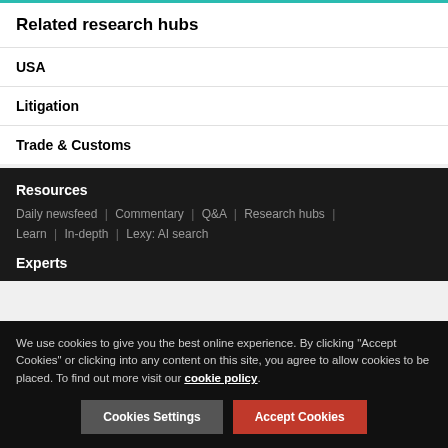Related research hubs
USA
Litigation
Trade & Customs
Resources
Daily newsfeed | Commentary | Q&A | Research hubs | Learn | In-depth | Lexy: AI search
Experts
We use cookies to give you the best online experience. By clicking "Accept Cookies" or clicking into any content on this site, you agree to allow cookies to be placed. To find out more visit our cookie policy.